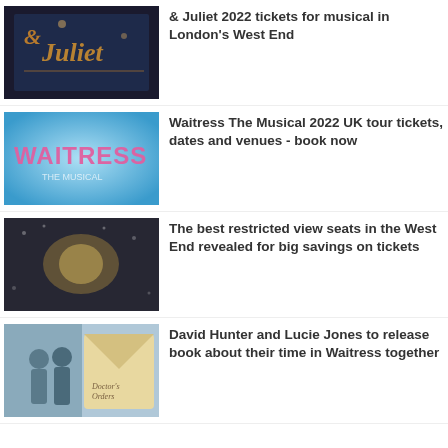[Figure (photo): & Juliet musical sign with neon-style lettering against a dark background]
& Juliet 2022 tickets for musical in London's West End
[Figure (photo): Waitress The Musical logo on a blue background with pink lettering]
Waitress The Musical 2022 UK tour tickets, dates and venues - book now
[Figure (photo): A glowing stage set with snowy atmospheric lighting in the West End]
The best restricted view seats in the West End revealed for big savings on tickets
[Figure (photo): David Hunter and Lucie Jones on stage with a Waitress prop envelope]
David Hunter and Lucie Jones to release book about their time in Waitress together